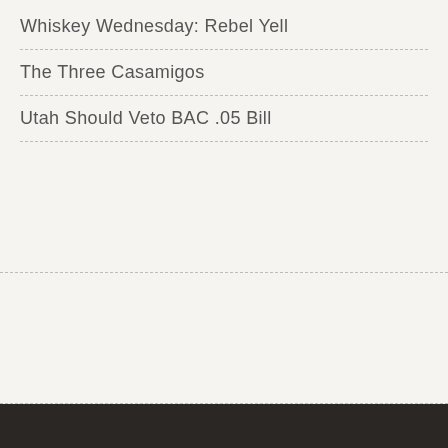Whiskey Wednesday: Rebel Yell
The Three Casamigos
Utah Should Veto BAC .05 Bill
Adult Beverages Copyright © 2022. Theme by MyThemeShop. Back to Top ↑